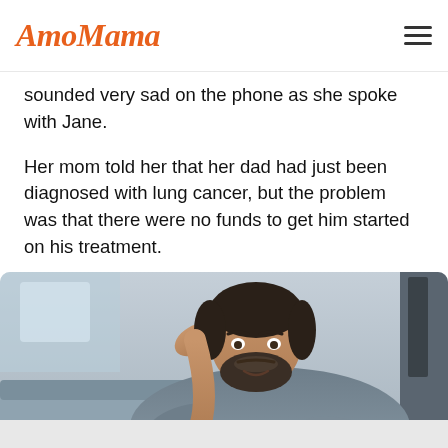AmoMama
sounded very sad on the phone as she spoke with Jane.
Her mom told her that her dad had just been diagnosed with lung cancer, but the problem was that there were no funds to get him started on his treatment.
[Figure (photo): A distressed bearded man in a grey t-shirt sitting on a couch with his hand on his head, looking worried and troubled.]